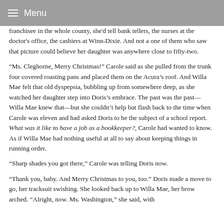Menu
franchisee in the whole county, she'd tell bank tellers, the nurses at the doctor's office, the cashiers at Winn-Dixie. And not a one of them who saw that picture could believe her daughter was anywhere close to fifty-two.
“Ms. Cleghorne, Merry Christmas!” Carole said as she pulled from the trunk four covered roasting pans and placed them on the Acura’s roof. And Willa Mae felt that old dyspepsia, bubbling up from somewhere deep, as she watched her daughter step into Doris’s embrace. The past was the past—Willa Mae knew that—but she couldn’t help but flash back to the time when Carole was eleven and had asked Doris to be the subject of a school report. What was it like to have a job as a bookkeeper?, Carole had wanted to know. As if Willa Mae had nothing useful at all to say about keeping things in running order.
“Sharp shades you got there,” Carole was telling Doris now.
“Thank you, baby. And Merry Christmas to you, too.” Doris made a move to go, her tracksuit swishing. She looked back up to Willa Mae, her brow arched. “Alright, now. Ms. Washington,” she said, with